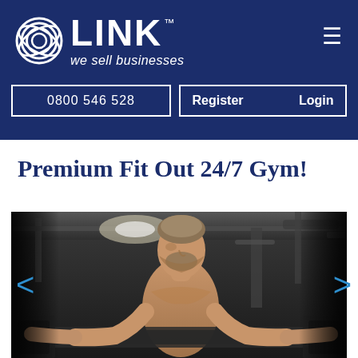[Figure (logo): LINK business brokerage logo with circular icon and tagline 'we sell businesses' on dark navy background]
0800 546 528
Register   Login
Premium Fit Out 24/7 Gym!
[Figure (photo): A muscular man lifting a barbell in a gym, shirtless, with gym equipment and lighting in the background. Navigation arrows (< >) visible on left and right sides of the image.]